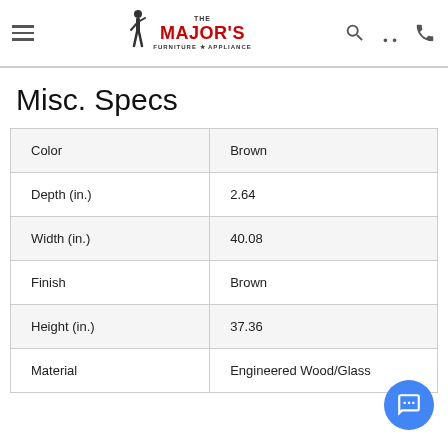The Major's Furniture & Appliance
Misc. Specs
| Color | Brown |
| Depth (in.) | 2.64 |
| Width (in.) | 40.08 |
| Finish | Brown |
| Height (in.) | 37.36 |
| Material | Engineered Wood/Glass |